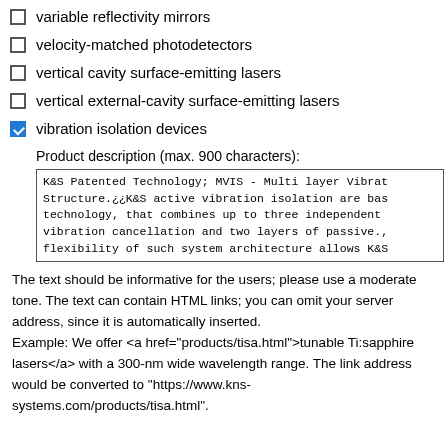variable reflectivity mirrors
velocity-matched photodetectors
vertical cavity surface-emitting lasers
vertical external-cavity surface-emitting lasers
vibration isolation devices
Product description (max. 900 characters):
K&S Patented Technology; MVIS - Multi layer Vibrat Structure.¿¿K&S active vibration isolation are bas technology, that combines up to three independent vibration cancellation and two layers of passive., flexibility of such system architecture allows K&S
The text should be informative for the users; please use a moderate tone. The text can contain HTML links; you can omit your server address, since it is automatically inserted. Example: We offer <a href="products/tisa.html">tunable Ti:sapphire lasers</a> with a 300-nm wide wavelength range. The link address would be converted to "https://www.kns-systems.com/products/tisa.html".